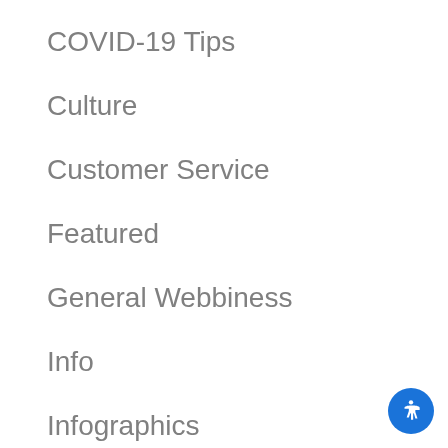COVID-19 Tips
Culture
Customer Service
Featured
General Webbiness
Info
Infographics
Internet Marketing
News
Nonprofits
SEO Advi…